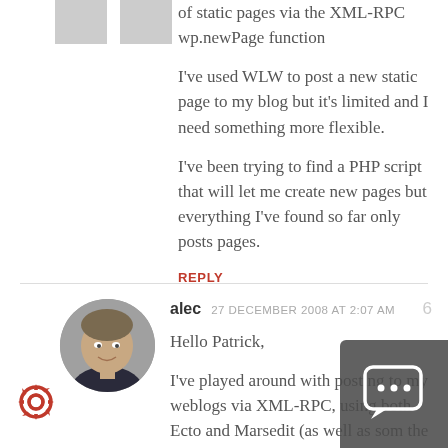of static pages via the XML-RPC wp.newPage function
I've used WLW to post a new static page to my blog but it's limited and I need something more flexible.
I've been trying to find a PHP script that will let me create new pages but everything I've found so far only posts pages.
REPLY
alec  27 DECEMBER 2008 AT 2:07 AM  6
Hello Patrick,
I've played around with posting to my weblogs via XML-RPC, using both Ecto and Marsedit (as well as some the Firefox plugins). I've tried lots of